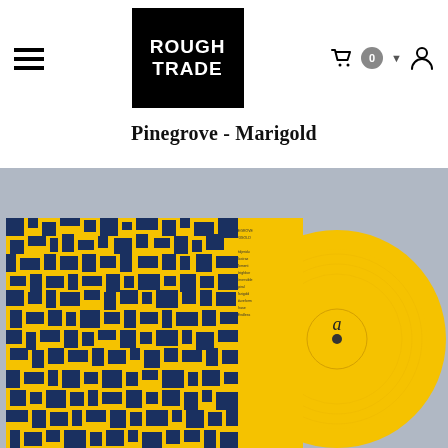Rough Trade — Navigation header with hamburger menu, logo, cart (0), and user icon
Pinegrove - Marigold
[Figure (photo): Product photo of the Pinegrove - Marigold vinyl record. Shows the album sleeve (yellow and dark navy blue pixelated/mosaic pattern artwork) leaning against a grey background, with a bright yellow vinyl record partially visible behind and to the right of the sleeve. The back of the sleeve with small text (track listing/lyrics) is visible in the centre.]